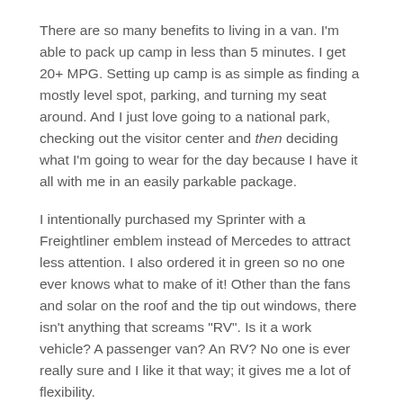There are so many benefits to living in a van. I'm able to pack up camp in less than 5 minutes. I get 20+ MPG. Setting up camp is as simple as finding a mostly level spot, parking, and turning my seat around. And I just love going to a national park, checking out the visitor center and then deciding what I'm going to wear for the day because I have it all with me in an easily parkable package.
I intentionally purchased my Sprinter with a Freightliner emblem instead of Mercedes to attract less attention. I also ordered it in green so no one ever knows what to make of it! Other than the fans and solar on the roof and the tip out windows, there isn't anything that screams "RV". Is it a work vehicle? A passenger van? An RV? No one is ever really sure and I like it that way; it gives me a lot of flexibility.
Different Kinds of Vans